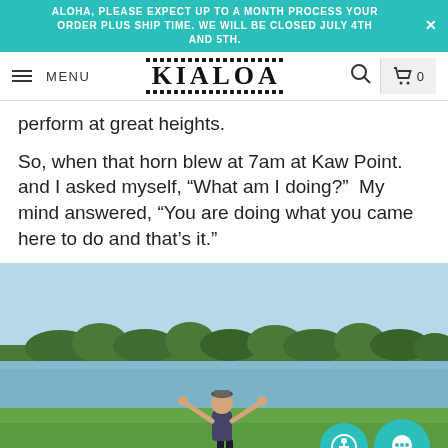ALOHA, PLEASE EXPECT UP TO A MONTH PROCESS YOUR ORDER PLUS SHIP TIME. WE WILL BE CLOSED JULY 4TH AND 5TH.
MENU | KIALOA | Search | Cart 0
perform at great heights.
So, when that horn blew at 7am at Kaw Point. and I asked myself, “What am I doing?”  My mind answered, “You are doing what you came here to do and that’s it.”
[Figure (photo): A woman standing on a kayak/paddleboard on a grassy riverbank with arms raised in victory pose. River and tree line visible in the background. A red inflatable kayak is on the ground. Sunny day.]